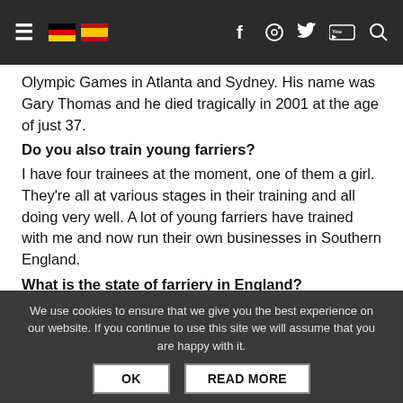≡ [DE flag] [ES flag] f ○ 𝕏 You▶ 🔍
Olympic Games in Atlanta and Sydney. His name was Gary Thomas and he died tragically in 2001 at the age of just 37.
Do you also train young farriers?
I have four trainees at the moment, one of them a girl. They're all at various stages in their training and all doing very well. A lot of young farriers have trained with me and now run their own businesses in Southern England.
What is the state of farriery in England?
The UK has very high standards for shoeing horses. No-one is allowed to shoe horses who hasn't done the four-year training. Only the Farriers Registration Council can grant exceptions. The rules are very strict to protect horses from being shoed badly.
We use cookies to ensure that we give you the best experience on our website. If you continue to use this site we will assume that you are happy with it.